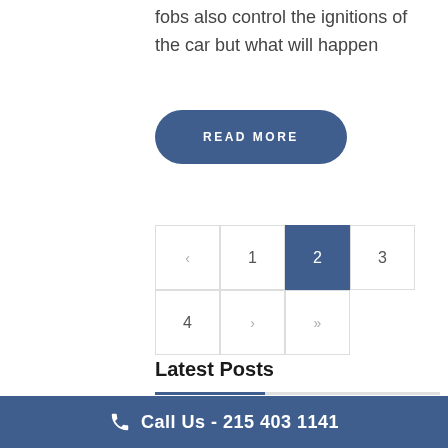fobs also control the ignitions of the car but what will happen
READ MORE
< 1 2 3 4 > »
Latest Posts
[Figure (photo): Thumbnail image for locksmith post showing a door with lock]
Is Starting A Locksmith Business With Your Resid...
Call Us - 215 403 1141